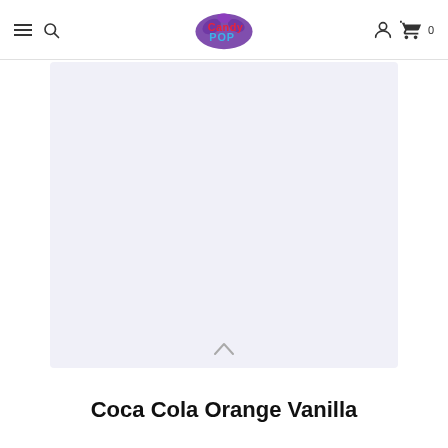CandyPop store header with hamburger menu, search icon, logo, account icon, and cart (0)
[Figure (other): Light lavender/blue-grey product image placeholder area]
Coca Cola Orange Vanilla